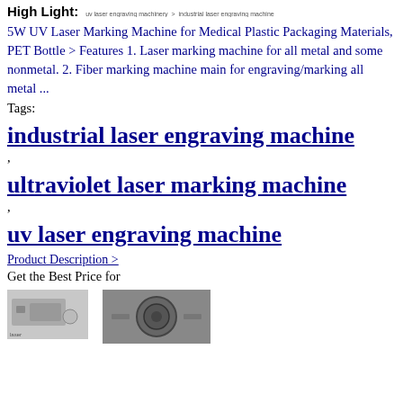High Light: uv laser engraving machinery > industrial laser engraving machine
5W UV Laser Marking Machine for Medical Plastic Packaging Materials, PET Bottle > Features 1. Laser marking machine for all metal and some nonmetal. 2. Fiber marking machine main for engraving/marking all metal ...
Tags:
industrial laser engraving machine
,
ultraviolet laser marking machine
,
uv laser engraving machine
Product Description >
Get the Best Price for
[Figure (photo): Two small product images at the bottom of the page]